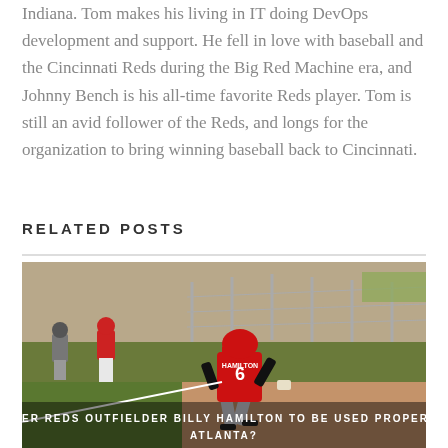Indiana. Tom makes his living in IT doing DevOps development and support. He fell in love with baseball and the Cincinnati Reds during the Big Red Machine era, and Johnny Bench is his all-time favorite Reds player. Tom is still an avid follower of the Reds, and longs for the organization to bring winning baseball back to Cincinnati.
RELATED POSTS
[Figure (photo): Baseball player wearing red Cincinnati Reds jersey with 'HAMILTON 6' on the back, running on a baseball field during spring training. Another player in red jersey visible in background.]
FORMER REDS OUTFIELDER BILLY HAMILTON TO BE USED PROPERLY IN ATLANTA?